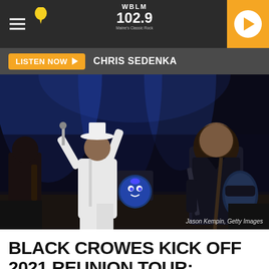WBLM 102.9
LISTEN NOW ▶  CHRIS SEDENKA
[Figure (photo): Concert photo of Black Crowes performing on stage. Singer in white suit and hat singing into microphone with arms raised, guitarist in black playing electric guitar, drummer visible in background with decorative bass drum. Stage lit with blue spotlights. Credit: Jason Kempin, Getty Images]
Jason Kempin, Getty Images
BLACK CROWES KICK OFF 2021 REUNION TOUR: PHOTOS, VIDEO,